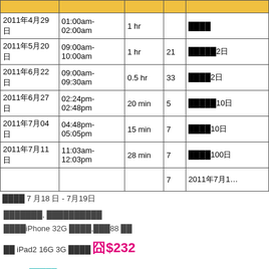|  |  |  |  |  |
| --- | --- | --- | --- | --- |
| 2011年4月29日 | 01:00am-02:00am | 1 hr |  | ████ |
| 2011年5月20日 | 09:00am-10:00am | 1 hr | 21 | ████2日 |
| 2011年6月22日 | 09:00am-09:30am | 0.5 hr | 33 | ███2日 |
| 2011年6月27日 | 02:24pm-02:48pm | 20 min | 5 | ████10日 |
| 2011年7月04日 | 04:48pm-05:05pm | 15 min | 7 | ████10日 |
| 2011年7月11日 | 11:03am-12:03pm | 28 min | 7 | ████100日 |
|  |  |  | 7 | 2011年7月1… |
████ 7 月18 日 - 7月19日
███████, ██████████
████iPhone 32G ████,███88 ██
██ iPad2 16G 3G ████ 囧$232
(7月18 █████)